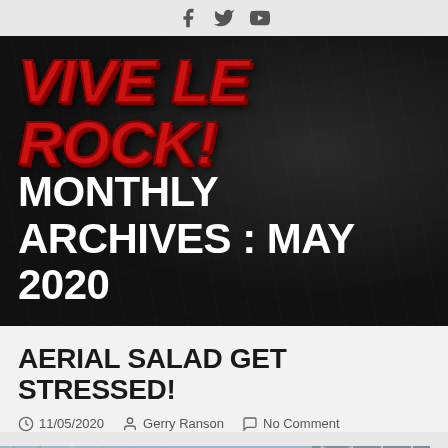[Facebook] [Twitter] [YouTube]
[Figure (screenshot): Vive Le Rock! magazine logo in red grunge/distressed italic text on dark textured background, with 'MONTHLY ARCHIVES : MAY 2020' in large white bold text below]
AERIAL SALAD GET STRESSED!
11/05/2020  Gerry Ranson  No Comment
[Figure (photo): Construction scaffolding and building exterior photograph, partially visible at bottom of page]